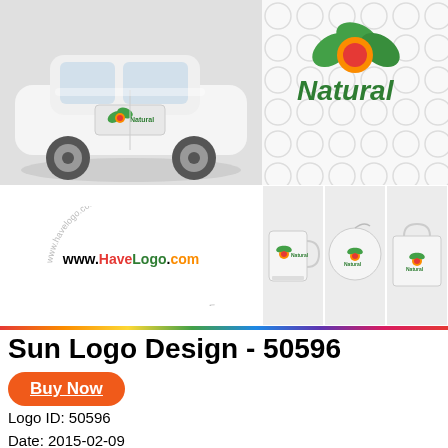[Figure (illustration): Top section composite image: car mockup with Natural logo on the left, logo on patterned background top right, www.HaveLogo.com watermark bottom left, and three product mockups (mug, round compact, shopping bag) bottom right]
Sun Logo Design - 50596
Buy Now
Logo ID: 50596
Date: 2015-02-09
Designer: Jude79
Tags: